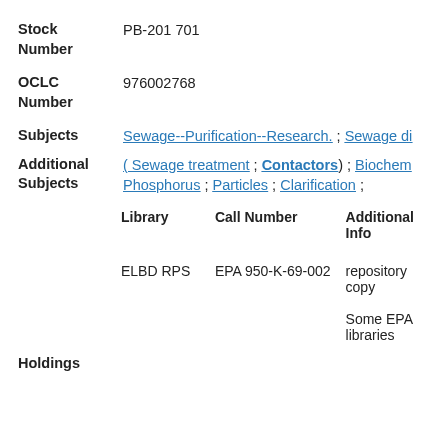Stock Number: PB-201 701
OCLC Number: 976002768
Subjects: Sewage--Purification--Research. ; Sewage di
Additional Subjects: ( Sewage treatment ; Contactors) ; Biochem... Phosphorus ; Particles ; Clarification ;
| Library | Call Number | Additional Info |
| --- | --- | --- |
| ELBD RPS | EPA 950-K-69-002 | repository copy

Some EPA libraries |
Holdings